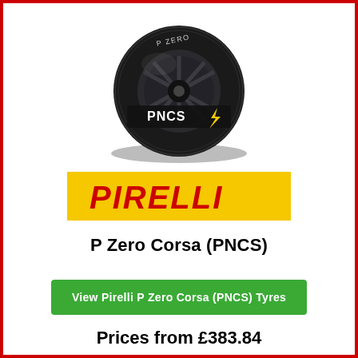[Figure (photo): Pirelli P Zero Corsa (PNCS) tyre product image showing a black performance tyre with PNCS branding on the sidewall]
[Figure (logo): Pirelli logo in red lettering on yellow background]
P Zero Corsa (PNCS)
View Pirelli P Zero Corsa (PNCS) Tyres
Prices from £383.84